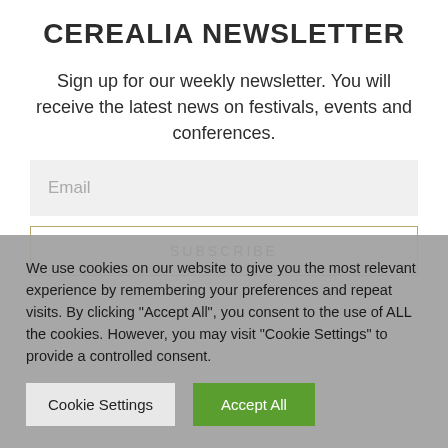CEREALIA NEWSLETTER
Sign up for our weekly newsletter. You will receive the latest news on festivals, events and conferences.
Email
SUBSCRIBE
We use cookies on our website to give you the most relevant experience by remembering your preferences and repeat visits. By clicking “Accept All”, you consent to the use of ALL the cookies. However, you may visit “Cookie Settings” to provide a controlled consent.
Cookie Settings
Accept All